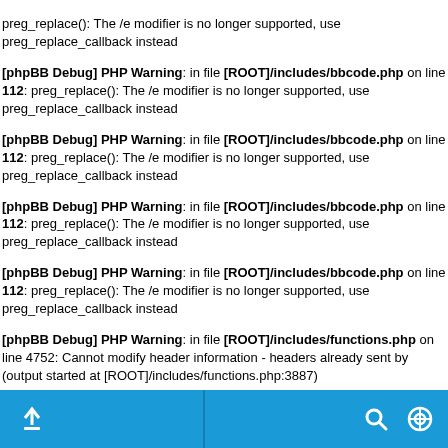preg_replace(): The /e modifier is no longer supported, use preg_replace_callback instead
[phpBB Debug] PHP Warning: in file [ROOT]/includes/bbcode.php on line 112: preg_replace(): The /e modifier is no longer supported, use preg_replace_callback instead
[phpBB Debug] PHP Warning: in file [ROOT]/includes/bbcode.php on line 112: preg_replace(): The /e modifier is no longer supported, use preg_replace_callback instead
[phpBB Debug] PHP Warning: in file [ROOT]/includes/bbcode.php on line 112: preg_replace(): The /e modifier is no longer supported, use preg_replace_callback instead
[phpBB Debug] PHP Warning: in file [ROOT]/includes/bbcode.php on line 112: preg_replace(): The /e modifier is no longer supported, use preg_replace_callback instead
[phpBB Debug] PHP Warning: in file [ROOT]/includes/functions.php on line 4752: Cannot modify header information - headers already sent by (output started at [ROOT]/includes/functions.php:3887)
[phpBB Debug] PHP Warning: in file [ROOT]/includes/functions.php on line 4754: Cannot modify header information - headers already sent by (output started at [ROOT]/includes/functions.php:3887)
[phpBB Debug] PHP Warning: in file [ROOT]/includes/functions.php on line 4755: Cannot modify header information - headers already sent by (output started at [ROOT]/includes/functions.php:3887)
[phpBB Debug] PHP Warning: in file [ROOT]/includes/functions.php on line 4756: Cannot modify header information - headers already sent by (output started at [ROOT]/includes/functions.php:3887)